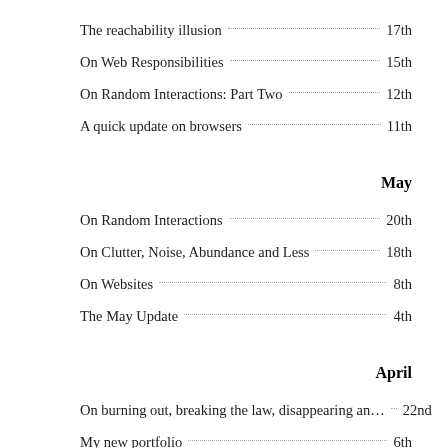The reachability illusion  17th
On Web Responsibilities  15th
On Random Interactions: Part Two  12th
A quick update on browsers  11th
May
On Random Interactions  20th
On Clutter, Noise, Abundance and Less  18th
On Websites  8th
The May Update  4th
April
On burning out, breaking the law, disappearing an…  22nd
My new portfolio  6th
March
Stories  29th